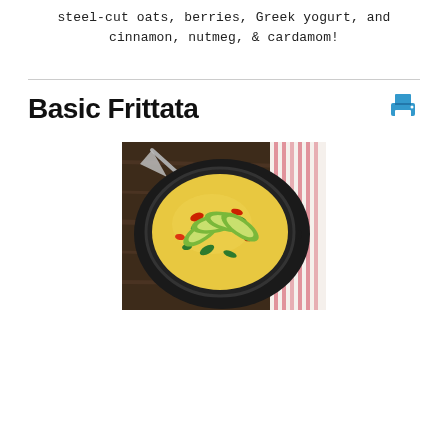steel-cut oats, berries, Greek yogurt, and cinnamon, nutmeg, & cardamom!
Basic Frittata
[Figure (photo): A cast iron skillet containing a yellow frittata topped with sliced avocado, red peppers, and green herbs, placed on a dark wooden surface next to a striped pink and white kitchen towel and a triangular pie server.]